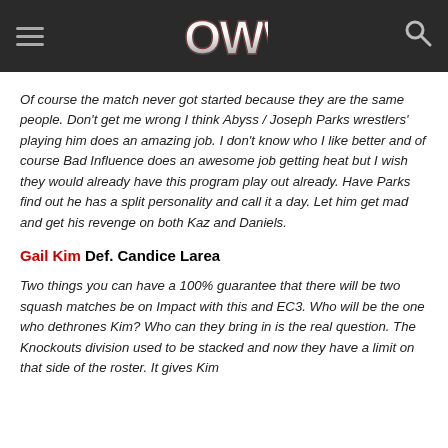OWW (logo with hamburger menu and search icon)
Of course the match never got started because they are the same people. Don't get me wrong I think Abyss / Joseph Parks wrestlers' playing him does an amazing job. I don't know who I like better and of course Bad Influence does an awesome job getting heat but I wish they would already have this program play out already. Have Parks find out he has a split personality and call it a day. Let him get mad and get his revenge on both Kaz and Daniels.
Gail Kim Def. Candice Larea
Two things you can have a 100% guarantee that there will be two squash matches be on Impact with this and EC3. Who will be the one who dethrones Kim? Who can they bring in is the real question. The Knockouts division used to be stacked and now they have a limit on that side of the roster. It gives Kim